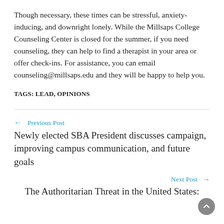Though necessary, these times can be stressful, anxiety-inducing, and downright lonely. While the Millsaps College Counseling Center is closed for the summer, if you need counseling, they can help to find a therapist in your area or offer check-ins. For assistance, you can email counseling@millsaps.edu and they will be happy to help you.
TAGS: LEAD, OPINIONS
← Previous Post
Newly elected SBA President discusses campaign, improving campus communication, and future goals
Next Post →
The Authoritarian Threat in the United States: